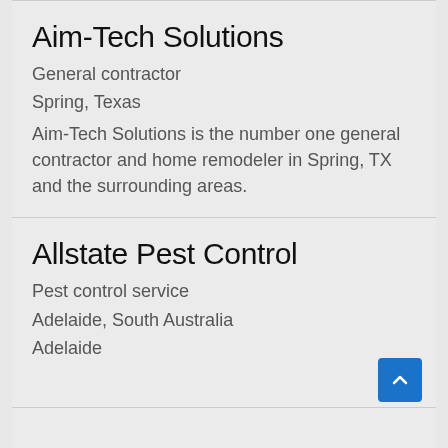Aim-Tech Solutions
General contractor
Spring, Texas
Aim-Tech Solutions is the number one general contractor and home remodeler in Spring, TX and the surrounding areas.
Allstate Pest Control
Pest control service
Adelaide, South Australia
Adelaide